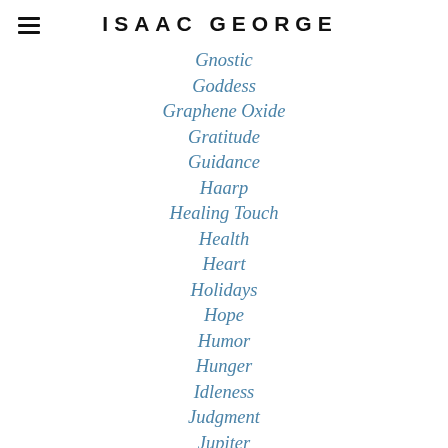ISAAC GEORGE
Gnostic
Goddess
Graphene Oxide
Gratitude
Guidance
Haarp
Healing Touch
Health
Heart
Holidays
Hope
Humor
Hunger
Idleness
Judgment
Jupiter
Karma
Kindness
Kundalini
Law of Attraction